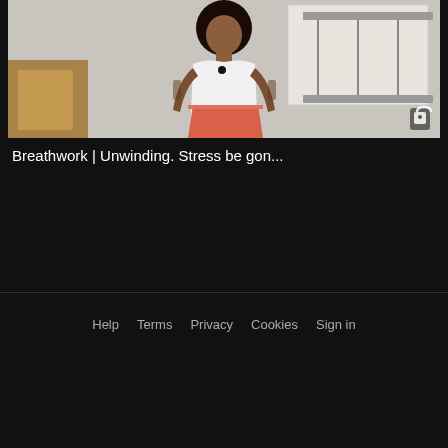[Figure (photo): Video thumbnail showing a woman with dark curly hair wearing a white tank top and colorful skirt, standing in front of a wall with artwork. A lock icon is visible in the bottom right corner of the thumbnail.]
Breathwork | Unwinding. Stress be gon...
Help   Terms   Privacy   Cookies   Sign in